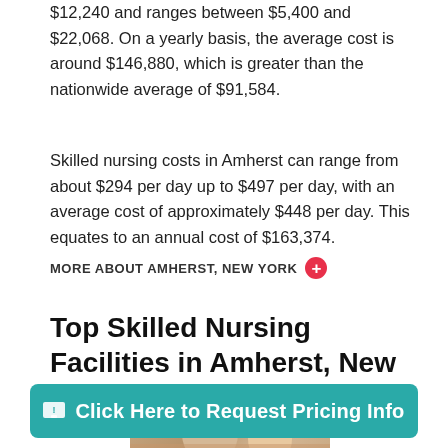$12,240 and ranges between $5,400 and $22,068. On a yearly basis, the average cost is around $146,880, which is greater than the nationwide average of $91,584.
Skilled nursing costs in Amherst can range from about $294 per day up to $497 per day, with an average cost of approximately $448 per day. This equates to an annual cost of $163,374.
MORE ABOUT AMHERST, NEW YORK +
Top Skilled Nursing Facilities in Amherst, New York
[Figure (photo): Photo of an elderly person with a caregiver, partial view]
Click Here to Request Pricing Info